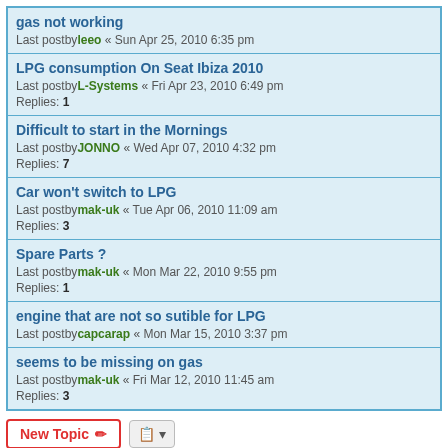gas not working
Last postby leeo « Sun Apr 25, 2010 6:35 pm
LPG consumption On Seat Ibiza 2010
Last postby L-Systems « Fri Apr 23, 2010 6:49 pm
Replies: 1
Difficult to start in the Mornings
Last postby JONNO « Wed Apr 07, 2010 4:32 pm
Replies: 7
Car won't switch to LPG
Last postby mak-uk « Tue Apr 06, 2010 11:09 am
Replies: 3
Spare Parts ?
Last postby mak-uk « Mon Mar 22, 2010 9:55 pm
Replies: 1
engine that are not so sutible for LPG
Last postby capcarap « Mon Mar 15, 2010 3:37 pm
seems to be missing on gas
Last postby mak-uk « Fri Mar 12, 2010 11:45 am
Replies: 3
297 topics  1  2  3  >
Jump to